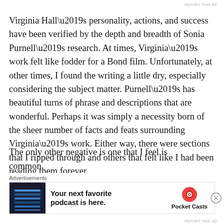Virginia Hall’s personality, actions, and success have been verified by the depth and breadth of Sonia Purnell’s research. At times, Virginia’s work felt like fodder for a Bond film. Unfortunately, at other times, I found the writing a little dry, especially considering the subject matter. Purnell’s has beautiful turns of phrase and descriptions that are wonderful. Perhaps it was simply a necessity born of the sheer number of facts and feats surrounding Virginia’s work. Either way, there were sections that I ripped through and others that felt like I had been reading them forever.
The only other negative is one that I feel is common
[Figure (infographic): Pocket Casts advertisement banner: 'Your next favorite podcast is here.' with app screenshot and Pocket Casts logo]